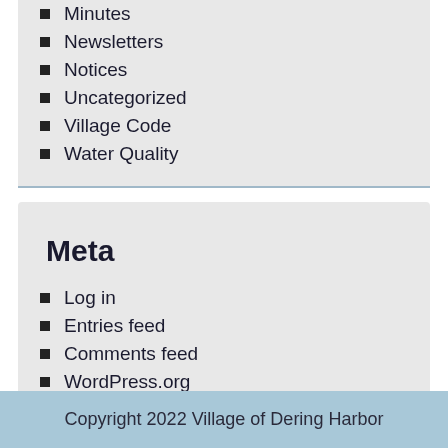Minutes
Newsletters
Notices
Uncategorized
Village Code
Water Quality
Meta
Log in
Entries feed
Comments feed
WordPress.org
Copyright 2022 Village of Dering Harbor